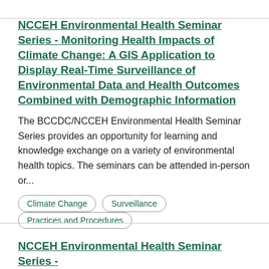NCCEH Environmental Health Seminar Series - Monitoring Health Impacts of Climate Change: A GIS Application to Display Real-Time Surveillance of Environmental Data and Health Outcomes Combined with Demographic Information
The BCCDC/NCCEH Environmental Health Seminar Series provides an opportunity for learning and knowledge exchange on a variety of environmental health topics. The seminars can be attended in-person or...
Climate Change
Surveillance
Practices and Procedures
NCCEH Environmental Health Seminar Series -